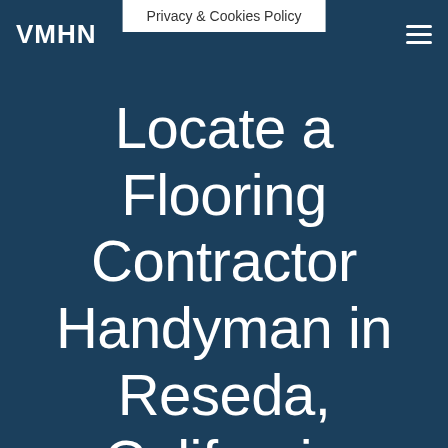VMHN
Privacy & Cookies Policy
Locate a Flooring Contractor Handyman in Reseda, California